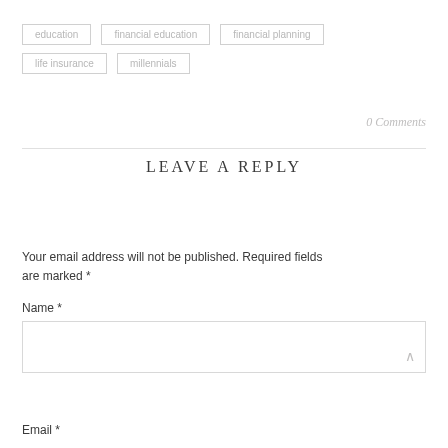education
financial education
financial planning
life insurance
millennials
0 Comments
LEAVE A REPLY
Your email address will not be published. Required fields are marked *
Name *
Email *